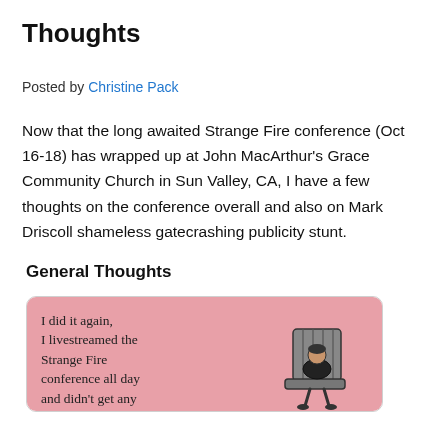Thoughts
Posted by Christine Pack
Now that the long awaited Strange Fire conference (Oct 16-18) has wrapped up at John MacArthur's Grace Community Church in Sun Valley, CA, I have a few thoughts on the conference overall and also on Mark Driscoll shameless gatecrashing publicity stunt.
General Thoughts
[Figure (illustration): Pink card with text 'I did it again, I livestreamed the Strange Fire conference all day and didn't get any' and an illustration of a person sitting in a chair.]